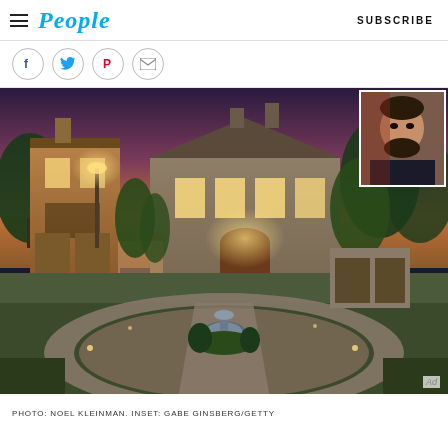People | SUBSCRIBE
[Figure (screenshot): People magazine website header with hamburger menu, People logo in blue italic, and SUBSCRIBE button on the right]
[Figure (photo): Large exterior photo of a luxurious Mediterranean-style mansion at dusk with a circular driveway and fountain, and an inset portrait photo of a man (rapper French Montana) in the upper right corner]
PHOTO: NOEL KLEINMAN. INSET: GABE GINSBERG/GETTY